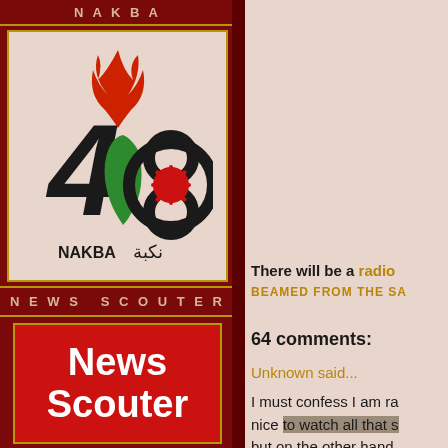NAKBA
[Figure (logo): Nakba 48 logo with flame, map of Palestine in green, and Arabic text نكبة]
NEWS SCOUTER
[Figure (logo): News Scouter red banner with white bold text]
There will be a radio
BEAMED FROM THE SA
64 comments:
Unknown said...
I must confess I am ra nice to watch all that s but on the other hand